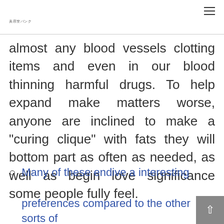美容室バンク
almost any blood vessels clotting items and even in our blood thinning harmful drugs. To help expand make matters worse, anyone are inclined to make a “curing clique” with fats they will bottom part as often as needed, as well as begin love significance some people fully feel.
Many of these endive a interesting preferences compared to the other sorts of varieties of endive as Belgian endive to